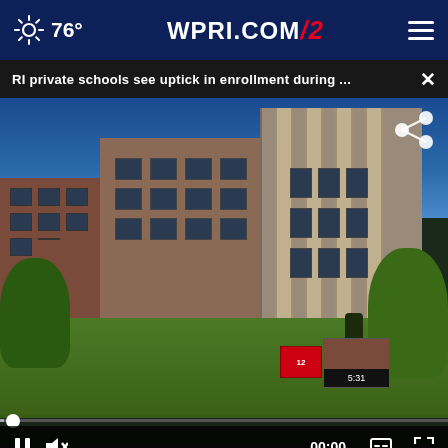76° WPRI.COM 12
RI private schools see uptick in enrollment during ...
[Figure (screenshot): Video player showing a brick school building (likely a private school in Rhode Island) with columns, green trees, and a statue in front. Video controls show pause button, mute, timestamp 00:00, captions and fullscreen icons. A share icon appears in the upper right of the video.]
• 12 RESPONDS   • VITAL HOTLINES
• COMPLETE COVERAGE »
[Figure (logo): Ocean State Credit Union advertisement banner: logo on left with italic 'Ocean' and bold 'State' in dark red, 'CREDIT UNION' in gold below; right side reads 'MEET WITH A MORTGAGE PROFESSIONAL TODAY >>' in dark red bold text.]